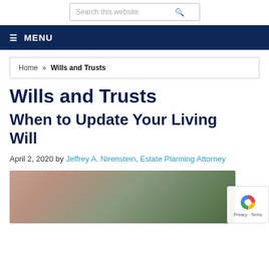Search this website
≡ MENU
Home » Wills and Trusts
Wills and Trusts
When to Update Your Living Will
April 2, 2020 by Jeffrey A. Nirenstein, Estate Planning Attorney
[Figure (photo): Outdoor photo, appears to show a person, blurred background of green foliage]